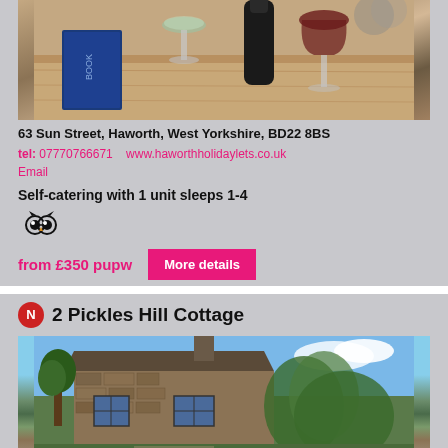[Figure (photo): Photo of a wooden table with wine glasses, a bottle of wine, and a book in what appears to be a cottage interior]
63 Sun Street, Haworth, West Yorkshire, BD22 8BS
tel: 07770766671    www.haworthholidaylets.co.uk
Email
Self-catering with 1 unit sleeps 1-4
[Figure (logo): TripAdvisor owl logo icon]
from £350 pupw
More details
2 Pickles Hill Cottage
[Figure (photo): Photo of a stone cottage with ivy-covered walls and trees, blue sky in background]